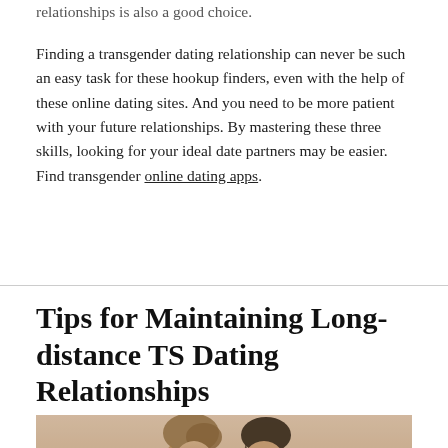relationships is also a good choice.
Finding a transgender dating relationship can never be such an easy task for these hookup finders, even with the help of these online dating sites. And you need to be more patient with your future relationships. By mastering these three skills, looking for your ideal date partners may be easier. Find transgender online dating apps.
Tips for Maintaining Long-distance TS Dating Relationships
[Figure (photo): Sepia-toned photo of a couple close together, woman with updo hairstyle and man with dark hair]